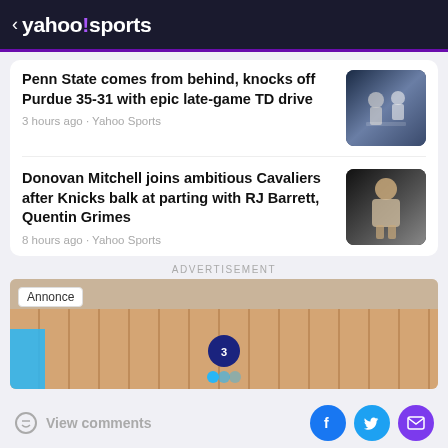< yahoo!sports
Penn State comes from behind, knocks off Purdue 35-31 with epic late-game TD drive
3 hours ago · Yahoo Sports
Donovan Mitchell joins ambitious Cavaliers after Knicks balk at parting with RJ Barrett, Quentin Grimes
8 hours ago · Yahoo Sports
ADVERTISEMENT
[Figure (screenshot): Advertisement banner showing a mobile game with wooden floor, blue elements, and 'Annonce' badge]
View comments